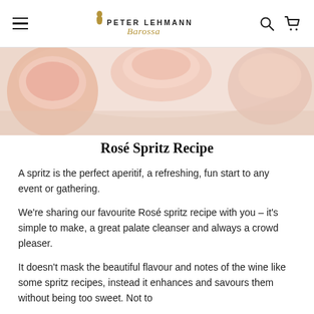Peter Lehmann Barossa navigation header with hamburger menu, logo, search and cart icons
[Figure (photo): Close-up photo of rosé wine in glasses, pink blush tones on white background]
Rosé Spritz Recipe
A spritz is the perfect aperitif, a refreshing, fun start to any event or gathering.
We're sharing our favourite Rosé spritz recipe with you – it's simple to make, a great palate cleanser and always a crowd pleaser.
It doesn't mask the beautiful flavour and notes of the wine like some spritz recipes, instead it enhances and savours them without being too sweet. Not to